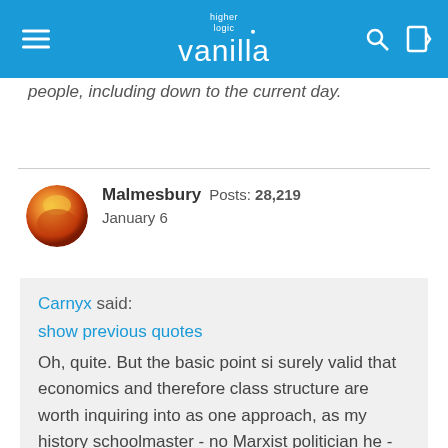higher logic vanilla
people, including down to the current day.
Malmesbury  Posts: 28,219
January 6
Carnyx said:
show previous quotes
Oh, quite. But the basic point si surely valid that economics and therefore class structure are worth inquiring into as one approach, as my history schoolmaster - no Marxist politician he - taught us.

For instance, the Viking ship, which is a highly sophisticated vehicle. Was it solely dispersed farmer-craftsmen and -women who created it or